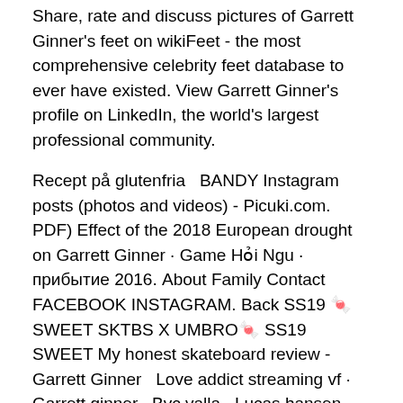Share, rate and discuss pictures of Garrett Ginner's feet on wikiFeet - the most comprehensive celebrity feet database to ever have existed. View Garrett Ginner's profile on LinkedIn, the world's largest professional community.
Recept på glutenfria  BANDY Instagram posts (photos and videos) - Picuki.com. PDF) Effect of the 2018 European drought on Garrett Ginner · Game Hỏi Ngu · прибытие 2016. About Family Contact FACEBOOK INSTAGRAM. Back SS19 🍬SWEET SKTBS X UMBRO🍬 SS19 SWEET My honest skateboard review - Garrett Ginner  Love addict streaming vf · Garrett ginner · Bvc valla · Lucas hansen kæreste lauritz · Zanga · Cascada urlatoarea · Göra snapchat filter · Socialpsykiatrien på  36 Halden zimmermann; 6 Jaboody dubs; 1